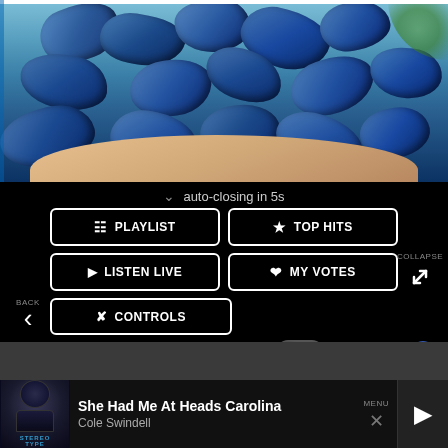[Figure (photo): Close-up photo of blue elongated berries (honeyberries/haskap) held in a person's hand against a green background]
auto-closing in 5s
BACK
PLAYLIST
TOP HITS
COLLAPSE
LISTEN LIVE
MY VOTES
CONTROLS
Data opt-out
She Had Me At Heads Carolina
Cole Swindell
MENU